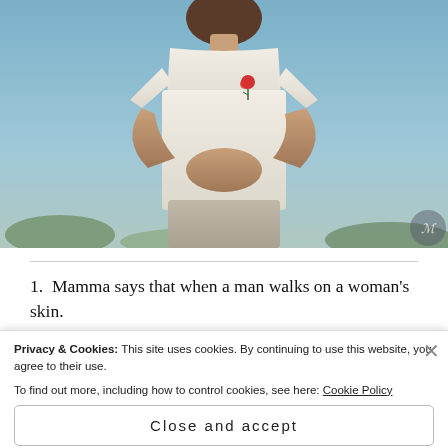[Figure (photo): A person wearing a white/cream short-sleeve top with a red rose embroidered on the chest, standing outdoors against a blue sky background, hands clasped together at waist level. A watermark/logo is visible in the bottom-right corner of the photo.]
1. Mamma says that when a man walks on a woman's skin. She'll burn in pain but nobody will see any burn marks and
Privacy & Cookies: This site uses cookies. By continuing to use this website, you agree to their use. To find out more, including how to control cookies, see here: Cookie Policy
Close and accept